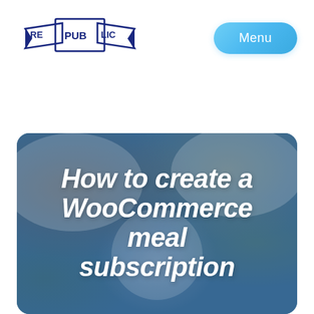[Figure (logo): Republic logo with banner/ribbon design in dark navy blue]
Menu
[Figure (photo): Photo of food dishes (Asian cuisine) with a blue tint overlay, showing multiple plates of food on a dark table. Overlaid with large white bold italic text: 'How to create a WooCommerce meal subscription']